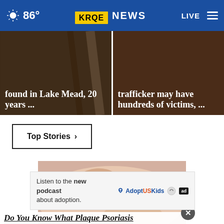86° KRQE NEWS LIVE
[Figure (screenshot): News card left: found in Lake Mead, 20 years ...]
[Figure (screenshot): News card right: trafficker may have hundreds of victims, ...]
Top Stories ›
[Figure (photo): Close-up photo of a hand touching skin with a mole/mark]
Listen to the new podcast about adoption.
Do You Know What Plaque Psoriasis